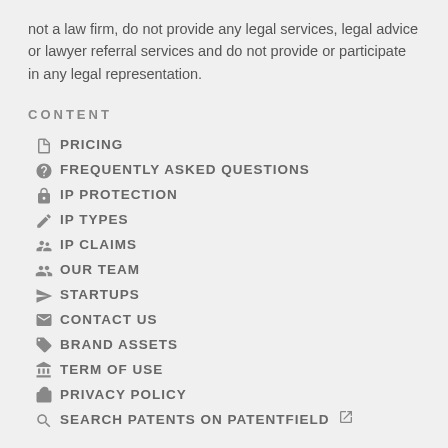not a law firm, do not provide any legal services, legal advice or lawyer referral services and do not provide or participate in any legal representation.
CONTENT
PRICING
FREQUENTLY ASKED QUESTIONS
IP PROTECTION
IP TYPES
IP CLAIMS
OUR TEAM
STARTUPS
CONTACT US
BRAND ASSETS
TERM OF USE
PRIVACY POLICY
SEARCH PATENTS ON PATENTFIELD